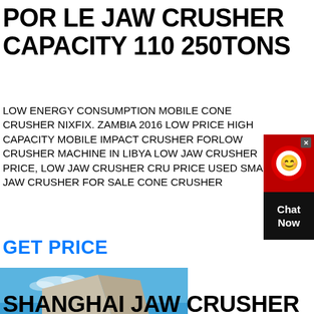POR LE JAW CRUSHER CAPACITY 110 250TONS
LOW ENERGY CONSUMPTION MOBILE CONE CRUSHER NIXFIX. ZAMBIA 2016 LOW PRICE HIGH CAPACITY MOBILE IMPACT CRUSHER FORLOW CRUSHER MACHINE IN LIBYA LOW JAW CRUSHER PRICE, LOW JAW CRUSHER CRUSHER PRICE USED SMALL JAW CRUSHER FOR SALE CONE CRUSHER
GET PRICE
[Figure (photo): Outdoor jaw crusher machinery at a mining/quarry site with large concrete walls, piles of gravel and dirt, heavy equipment under a blue sky]
SHANGHAI JAW CRUSHER